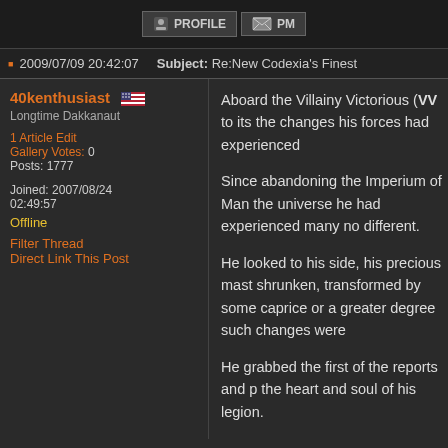[Figure (screenshot): Forum page header with PROFILE and PM buttons]
2009/07/09 20:42:07   Subject: Re:New Codexia's Finest
40kenthusiast
Longtime Dakkanaut
1 Article Edit
Gallery Votes: 0
Posts: 1777
Joined: 2007/08/24 02:49:57
Offline
Filter Thread
Direct Link This Post
Aboard the Villainy Victorious (VV to its the changes his forces had experienced
Since abandoning the Imperium of Man the universe he had experienced many no different.
He looked to his side, his precious mast shrunken, transformed by some caprice or a greater degree such changes were
He grabbed the first of the reports and p the heart and soul of his legion.